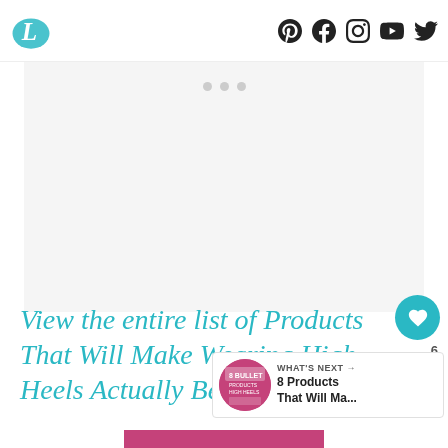L [logo] | Pinterest Facebook Instagram YouTube Twitter [social icons]
[Figure (other): Gray advertisement placeholder box with three dots at top center]
View the entire list of Products That Will Make Wearing High Heels Actually Bearal
[Figure (other): What's Next panel: thumbnail image of high heels products, label 'WHAT'S NEXT →', title '8 Products That Will Ma...']